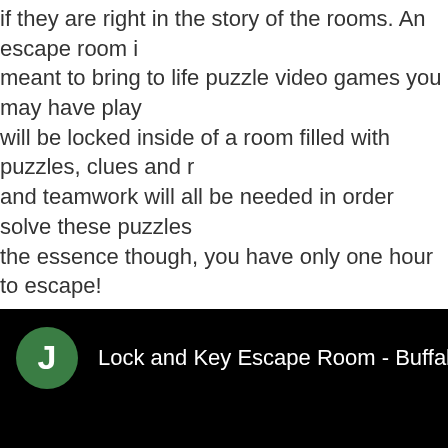if they are right in the story of the rooms. An escape room is meant to bring to life puzzle video games you may have play will be locked inside of a room filled with puzzles, clues and r and teamwork will all be needed in order solve these puzzles the essence though, you have only one hour to escape!
Lock and Key Escape Room - Buffalo, NY - WNY L